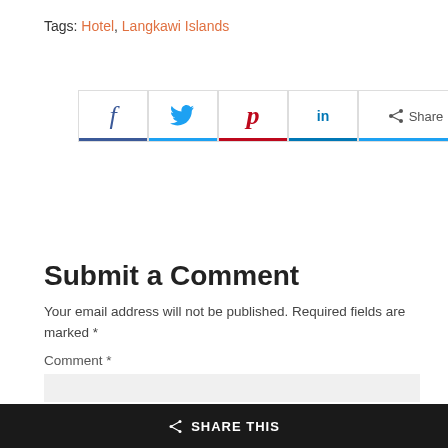Tags: Hotel, Langkawi Islands
[Figure (infographic): Social sharing buttons: Facebook (f), Twitter (bird), Pinterest (p), LinkedIn (in), Share]
Submit a Comment
Your email address will not be published. Required fields are marked *
Comment *
SHARE THIS